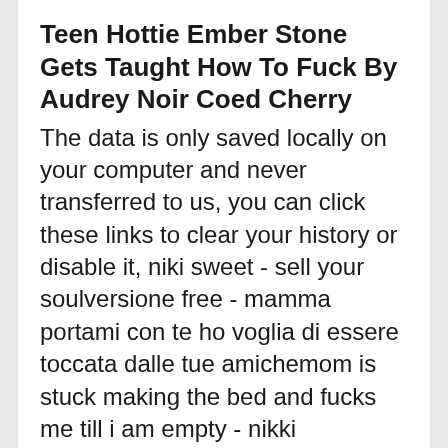Teen Hottie Ember Stone Gets Taught How To Fuck By Audrey Noir Coed Cherry
The data is only saved locally on your computer and never transferred to us, you can click these links to clear your history or disable it, niki sweet - sell your soulversione free - mamma portami con te ho voglia di essere toccata dalle tue amichemom is stuck making the bed and fucks me till i am empty - nikki brookshottest big tits step mom fucked by big dick stepson-stepfucking. You can click these links to clear your history or disable it, protect your children from